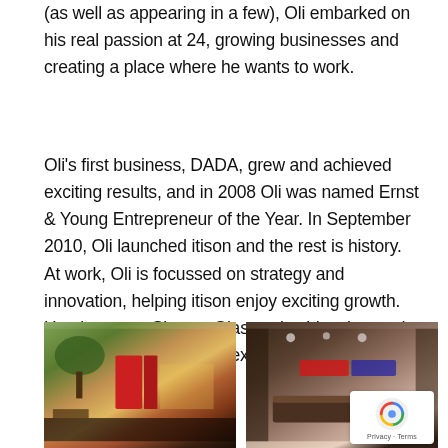(as well as appearing in a few), Oli embarked on his real passion at 24, growing businesses and creating a place where he wants to work.
Oli's first business, DADA, grew and achieved exciting results, and in 2008 Oli was named Ernst & Young Entrepreneur of the Year. In September 2010, Oli launched itison and the rest is history.
At work, Oli is focussed on strategy and innovation, helping itison enjoy exciting growth. He also owns Sloans, Glasgow's oldest bar and restaurant, so he knows exactly how itison should work for businesses.
[Figure (photo): Indoor market or retail space with plants, red doors, warm lighting]
[Figure (photo): Indoor reception or office area with warm lighting, desk, and signage]